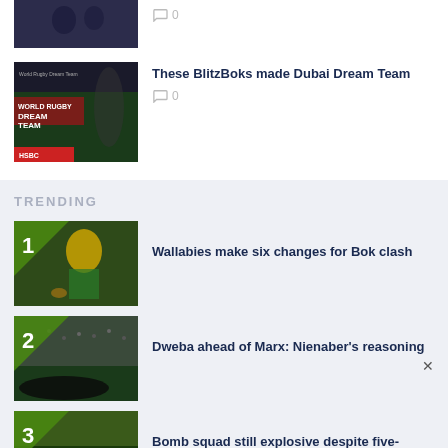[Figure (photo): Cropped rugby/sports photo at top left, partially visible]
0
[Figure (photo): World Rugby Dubai Dream Team thumbnail with HSBC branding]
These BlitzBoks made Dubai Dream Team
0
TRENDING
[Figure (photo): Trending item 1: Wallabies player kicking ball in gold jersey, numbered 1]
Wallabies make six changes for Bok clash
[Figure (photo): Trending item 2: Stadium/rugby scene, numbered 2]
Dweba ahead of Marx: Nienaber's reasoning
[Figure (photo): Trending item 3: Rugby match crowd scene, numbered 3]
Bomb squad still explosive despite five-